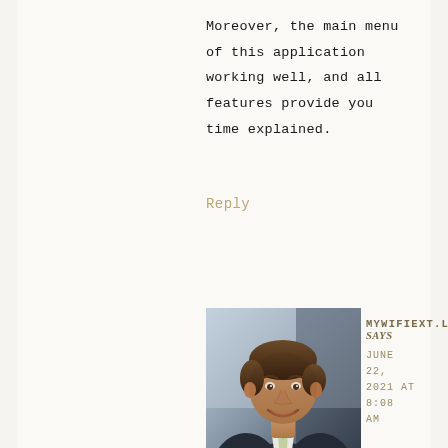Moreover, the main menu of this application working well, and all features provide you time explained.
Reply
[Figure (photo): Headshot of a smiling man in a dark suit with a tie, professional portrait photo]
MYWIFIEXT.LOCAL says
JUNE 22, 2021 AT 8:08 AM
Log into your WiFi extender by accessing mywifiext.local. If the basic troubleshooting tips weren't of help